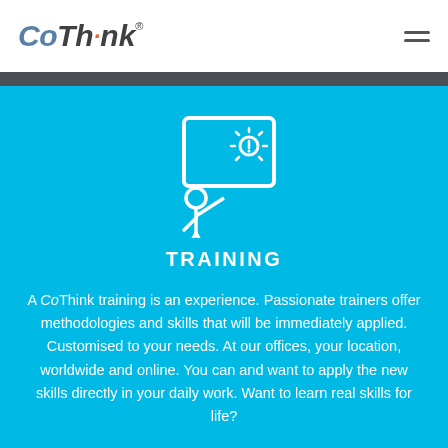CoThink®
[Figure (illustration): White line icon of a trainer presenting at a board/screen with an alert/idea symbol, on blue background]
TRAINING
A CoThink training is an experience. Passionate trainers offer methodologies and skills that will be immediately applied. Customised to your needs. At our offices, your location, worldwide and online. You can and want to apply the new skills directly in your daily work. Want to learn real skills for life?
Read more